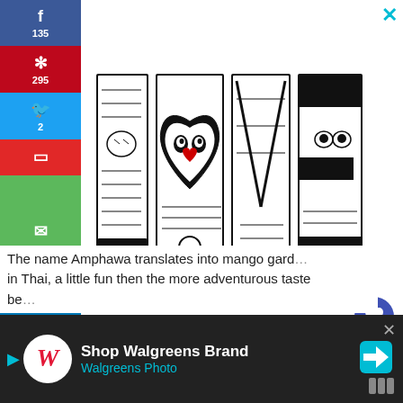[Figure (illustration): Decorative black and white 'LOVE' text art with intricate face and pattern illustrations inside each letter, with the O shaped as a heart]
The name Amphawa translates into mango gard... in Thai, a little fun then the more adventurous taste be...
[Figure (screenshot): Walgreens Brand / Walgreens Photo advertisement banner at bottom of page with logo, text and navigation arrow]